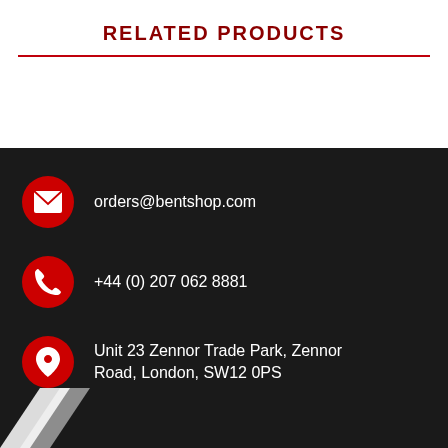RELATED PRODUCTS
orders@bentshop.com
+44 (0) 207 062 8881
Unit 23 Zennor Trade Park, Zennor Road, London, SW12 0PS